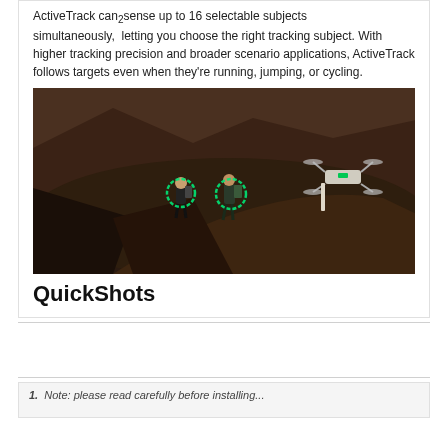ActiveTrack can₂sense up to 16 selectable subjects simultaneously, letting you choose the right tracking subject. With higher tracking precision and broader scenario applications, ActiveTrack follows targets even when they're running, jumping, or cycling.
[Figure (photo): Aerial drone photo showing two hikers on a dark volcanic trail being tracked by a DJI drone. Green circular tracking indicators are overlaid on the hikers.]
QuickShots
1. ...